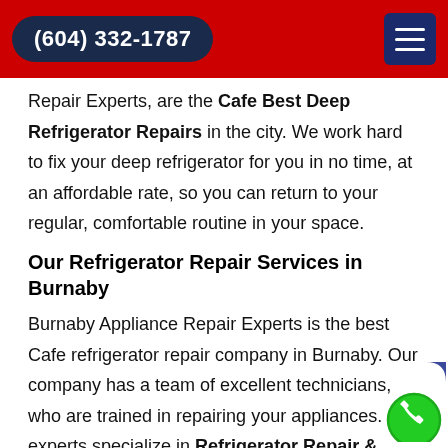(604) 332-1787
Repair Experts, are the Cafe Best Deep Refrigerator Repairs in the city. We work hard to fix your deep refrigerator for you in no time, at an affordable rate, so you can return to your regular, comfortable routine in your space.
Our Refrigerator Repair Services in Burnaby
Burnaby Appliance Repair Experts is the best Cafe refrigerator repair company in Burnaby. Our company has a team of excellent technicians, who are trained in repairing your appliances. Our experts specialize in Refrigerator Repair & Fixing, and provide twenty-four hours of the best repair